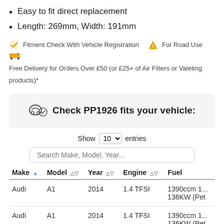Easy to fit direct replacement
Length: 269mm, Width: 191mm
Fitment Check With Vehicle Registration   For Road Use   Free Delivery for Orders Over £50 (or £25+ of Air Filters or Valeting products)*
Check PP1926 fits your vehicle:
Show 10 entries
Search Make, Model, Year...
| Make | Model | Year | Engine | Fuel |
| --- | --- | --- | --- | --- |
| Audi | A1 | 2014 | 1.4 TFSI | 1390ccm 1... 136KW (Pet |
| Audi | A1 | 2014 | 1.4 TFSI | 1390ccm 1... 136KW (Pet |